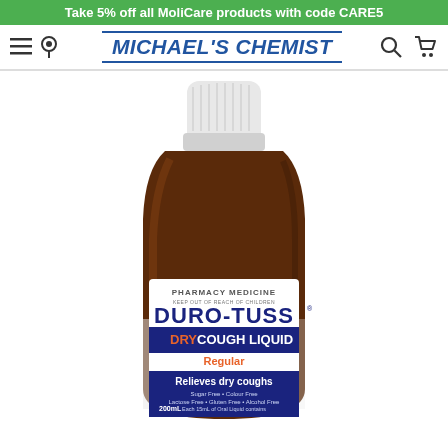Take 5% off all MoliCare products with code CARE5
[Figure (logo): Michael's Chemist navigation bar with hamburger menu, location pin, logo, search and cart icons]
[Figure (photo): Duro-Tuss Dry Cough Liquid Regular 200mL bottle – amber glass bottle with white child-proof cap. Label reads: PHARMACY MEDICINE, KEEP OUT OF REACH OF CHILDREN, DURO-TUSS, DRY COUGH LIQUID, Regular, Relieves dry coughs, Sugar Free, Colour Free, Lactose Free, Gluten Free, Alcohol Free, Each 15mL of Oral Liquid contains, 200mL, Pholcodine 15mg]